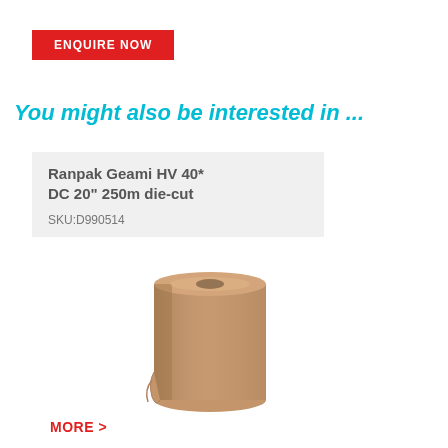ENQUIRE NOW
You might also be interested in ...
Ranpak Geami HV 40* DC 20" 250m die-cut
SKU:D990514
[Figure (photo): A roll of brown/kraft Ranpak Geami die-cut paper wrap on a cardboard core, shown standing upright]
MORE >